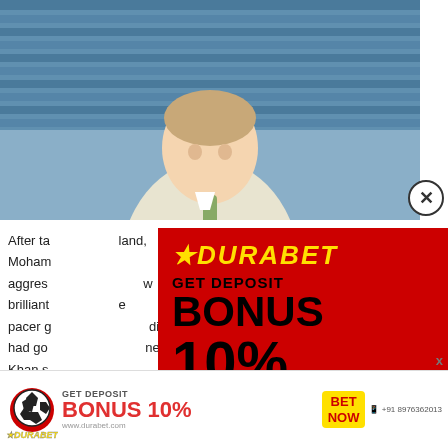[Figure (photo): Man in light suit smiling at sports stadium]
After ta... [l]and, Moham... aggres... w brilliant... e pacer g... diately had go... neer Khan s... coming...
[Figure (infographic): DURABET popup ad: GET DEPOSIT BONUS 10% BET NOW +91 8976362013 with soccer ball]
[Figure (infographic): DURABET bottom banner: GET DEPOSIT BONUS 10% BET NOW www.durabet.com +91 8976362013]